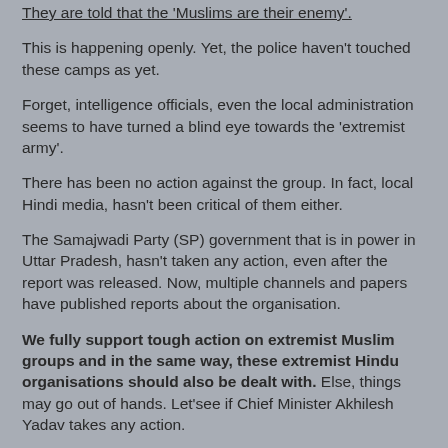They are told that the 'Muslims are their enemy'.
This is happening openly. Yet, the police haven't touched these camps as yet.
Forget, intelligence officials, even the local administration seems to have turned a blind eye towards the 'extremist army'.
There has been no action against the group. In fact, local Hindi media, hasn't been critical of them either.
The Samajwadi Party (SP) government that is in power in Uttar Pradesh, hasn't taken any action, even after the report was released. Now, multiple channels and papers have published reports about the organisation.
We fully support tough action on extremist Muslim groups and in the same way, these extremist Hindu organisations should also be dealt with. Else, things may go out of hands. Let'see if Chief Minister Akhilesh Yadav takes any action.